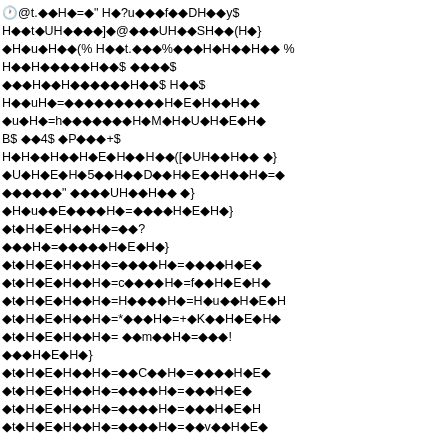Corrupted/encoded text content with diamond replacement characters throughout the page, representing unreadable encoded or corrupted document text.